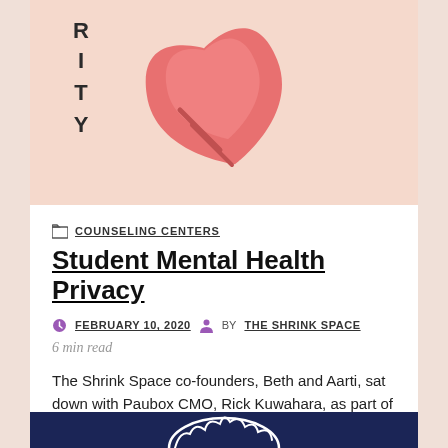[Figure (illustration): Partial view of a pink/salmon colored heart illustration with 'RITY' text vertically on the left side, on a peach background — top portion of a card]
COUNSELING CENTERS
Student Mental Health Privacy
FEBRUARY 10, 2020   BY THE SHRINK SPACE
6 min read
The Shrink Space co-founders, Beth and Aarti, sat down with Paubox CMO, Rick Kuwahara, as part of their Encrypted Interview Series where they chat with…
[Figure (illustration): Dark navy blue card bottom showing partial white brain illustration on dark blue background]